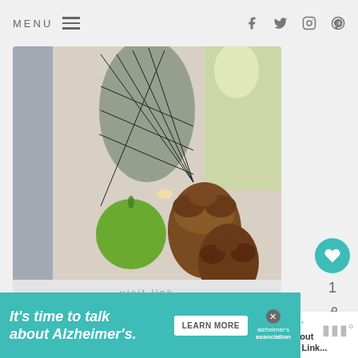MENU
[Figure (photo): Table centerpiece with green apple, pine cones, chicken wire lantern, and wine glass with green floral design]
visit link
18. How To Make An Early Autumn Apple Tablescape
[Figure (photo): Dark brown background with text: 12 Useful Tips For August]
WHAT'S NEXT → All About Home Link...
It's time to talk about Alzheimer's.
LEARN MORE